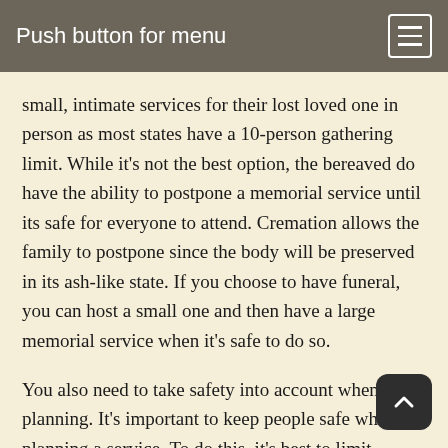Push button for menu
small, intimate services for their lost loved one in person as most states have a 10-person gathering limit. While it's not the best option, the bereaved do have the ability to postpone a memorial service until its safe for everyone to attend. Cremation allows the family to postpone since the body will be preserved in its ash-like state. If you choose to have funeral, you can host a small one and then have a large memorial service when it's safe to do so.
You also need to take safety into account when planning. It's important to keep people safe while planning a service. To do this, it's best to limit planning appointments to two people in person,